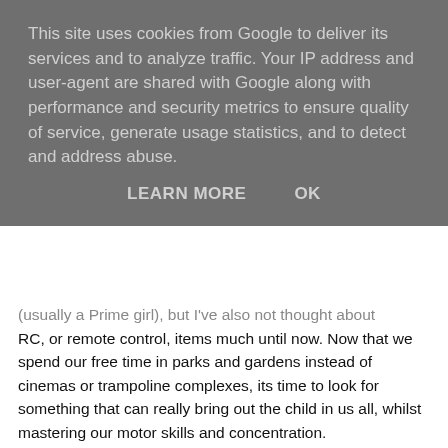This site uses cookies from Google to deliver its services and to analyze traffic. Your IP address and user-agent are shared with Google along with performance and security metrics to ensure quality of service, generate usage statistics, and to detect and address abuse.
LEARN MORE   OK
(usually a Prime girl), but I've also not thought about RC, or remote control, items much until now. Now that we spend our free time in parks and gardens instead of cinemas or trampoline complexes, its time to look for something that can really bring out the child in us all, whilst mastering our motor skills and concentration.
Here's a few items that Sgile Toys offer...
SGILE RC Stunt Car
[Figure (photo): Photo of SGILE RC Stunt Car product — a green stunt car wheel/body with black tread patterns, alongside batteries (AA and rechargeable pack) and a black/yellow game controller.]